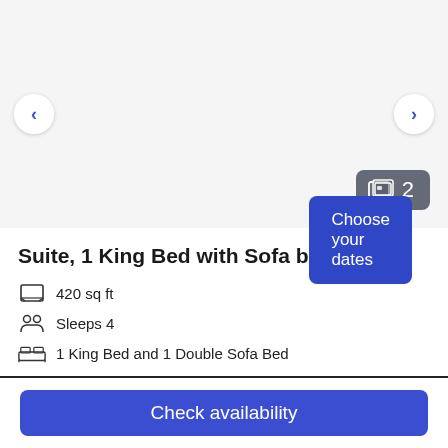[Figure (other): Hotel room image carousel with left and right navigation arrows and a photo count badge showing 2]
Suite, 1 King Bed with Sofa bed
420 sq ft
Sleeps 4
1 King Bed and 1 Double Sofa Bed
More details >
Choose your dates
Check availability